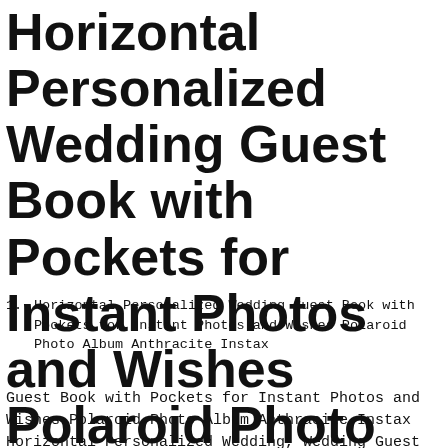Horizontal Personalized Wedding Guest Book with Pockets for Instant Photos and Wishes Polaroid Photo Album Anthracite Instax
Horizontal Personalized Wedding Guest Book with Pockets for Instant Photos and Wishes Polaroid Photo Album Anthracite Instax
Guest Book with Pockets for Instant Photos and Wishes Polaroid Photo Album Anthracite Instax Horizontal Personalized Wedding, Wedding Guest Book with Pockets for Instant Photos and Wishes